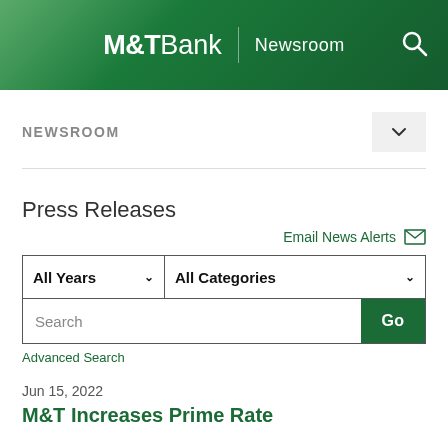M&T Bank | Newsroom
NEWSROOM
Press Releases
Email News Alerts
All Years
All Categories
Search
Advanced Search
Jun 15, 2022
M&T Increases Prime Rate